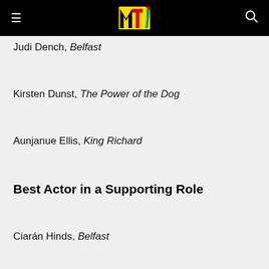MTV [logo] navigation header
Judi Dench, Belfast
Kirsten Dunst, The Power of the Dog
Aunjanue Ellis, King Richard
Best Actor in a Supporting Role
Ciarán Hinds, Belfast
Troy Kotsur, CODA
Jesse Plemons, The Power of the Dog